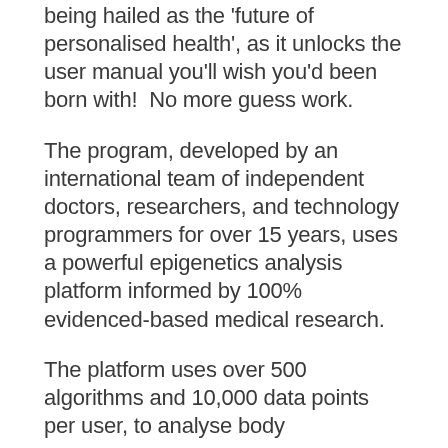being hailed as the 'future of personalised health', as it unlocks the user manual you'll wish you'd been born with!  No more guess work.
The program, developed by an international team of independent doctors, researchers, and technology programmers for over 15 years, uses a powerful epigenetics analysis platform informed by 100% evidenced-based medical research.
The platform uses over 500 algorithms and 10,000 data points per user, to analyse body